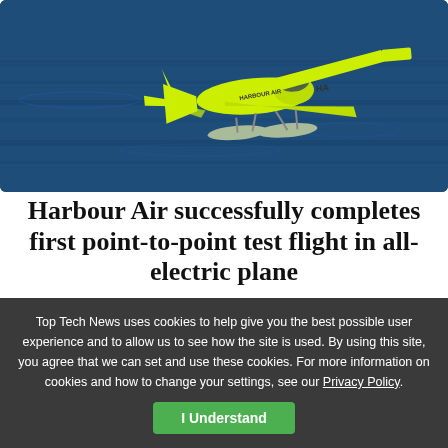[Figure (photo): A yellow electric seaplane (floatplane) with 'HARBOUR AIR' branding flying low over dark blue water, viewed from above at slight angle. The plane has two floats and yellow wings.]
Harbour Air successfully completes first point-to-point test flight in all-electric plane
August 25, 2022
Top Tech News uses cookies to help give you the best possible user experience and to allow us to see how the site is used. By using this site, you agree that we can set and use these cookies. For more information on cookies and how to change your settings, see our Privacy Policy.